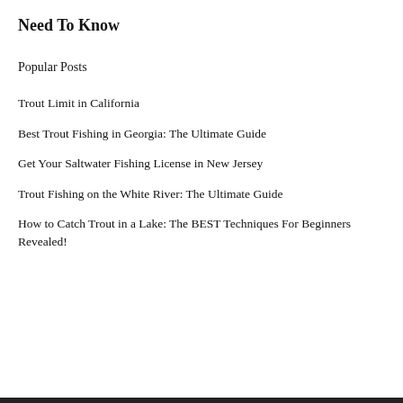Need To Know
Popular Posts
Trout Limit in California
Best Trout Fishing in Georgia: The Ultimate Guide
Get Your Saltwater Fishing License in New Jersey
Trout Fishing on the White River: The Ultimate Guide
How to Catch Trout in a Lake: The BEST Techniques For Beginners Revealed!